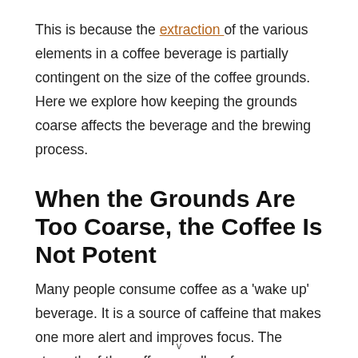This is because the extraction of the various elements in a coffee beverage is partially contingent on the size of the coffee grounds. Here we explore how keeping the grounds coarse affects the beverage and the brewing process.
When the Grounds Are Too Coarse, the Coffee Is Not Potent
Many people consume coffee as a 'wake up' beverage. It is a source of caffeine that makes one more alert and improves focus. The strength of the coffee usually refers
v